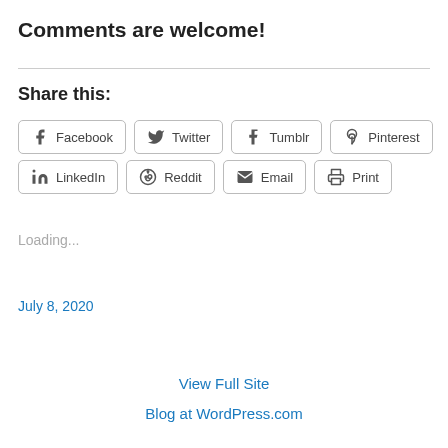Comments are welcome!
Share this:
Loading...
July 8, 2020
View Full Site
Blog at WordPress.com